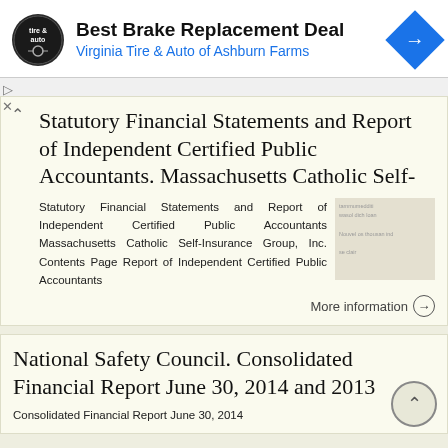[Figure (screenshot): Advertisement banner for Virginia Tire & Auto of Ashburn Farms with logo, title 'Best Brake Replacement Deal', subtitle, and navigation icon]
Statutory Financial Statements and Report of Independent Certified Public Accountants. Massachusetts Catholic Self-
Statutory Financial Statements and Report of Independent Certified Public Accountants Massachusetts Catholic Self-Insurance Group, Inc. Contents Page Report of Independent Certified Public Accountants
More information →
National Safety Council. Consolidated Financial Report June 30, 2014 and 2013
Consolidated Financial Report June 30, 2014